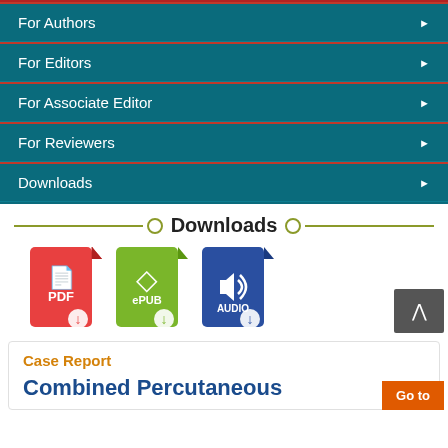For Authors
For Editors
For Associate Editor
For Reviewers
Downloads
Downloads
[Figure (other): Three download format icons: PDF (red), ePUB (green), AUDIO (dark blue)]
Case Report
Combined Percutaneous